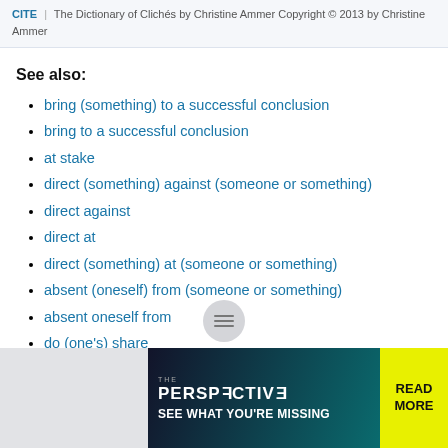CITE | The Dictionary of Clichés by Christine Ammer Copyright © 2013 by Christine Ammer
See also:
bring (something) to a successful conclusion
bring to a successful conclusion
at stake
direct (something) against (someone or something)
direct against
direct at
direct (something) at (someone or something)
absent (oneself) from (someone or something)
absent oneself from
do (one's) share
[Figure (other): Advertisement banner: THE PERSPECTIVE - SEE WHAT YOU'RE MISSING - READ MORE]